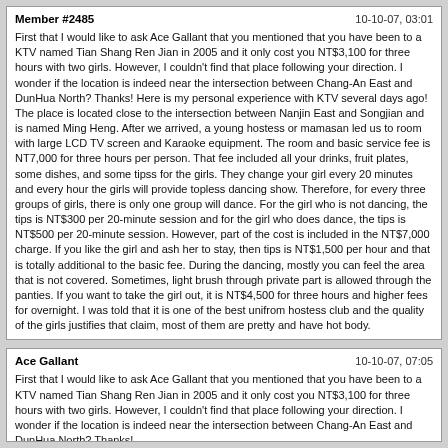Member #2485 | 10-10-07, 03:01
First that I would like to ask Ace Gallant that you mentioned that you have been to a KTV named Tian Shang Ren Jian in 2005 and it only cost you NT$3,100 for three hours with two girls. However, I couldn't find that place following your direction. I wonder if the location is indeed near the intersection between Chang-An East and DunHua North? Thanks! Here is my personal experience with KTV several days ago! The place is located close to the intersection between Nanjin East and Songjian and is named Ming Heng. After we arrived, a young hostess or mamasan led us to room with large LCD TV screen and Karaoke equipment. The room and basic service fee is NT7,000 for three hours per person. That fee included all your drinks, fruit plates, some dishes, and some tipss for the girls. They change your girl every 20 minutes and every hour the girls will provide topless dancing show. Therefore, for every three groups of girls, there is only one group will dance. For the girl who is not dancing, the tips is NT$300 per 20-minute session and for the girl who does dance, the tips is NT$500 per 20-minute session. However, part of the cost is included in the NT$7,000 charge. If you like the girl and ash her to stay, then tips is NT$1,500 per hour and that is totally additional to the basic fee. During the dancing, mostly you can feel the area that is not covered. Sometimes, light brush through private part is allowed through the panties. If you want to take the girl out, it is NT$4,500 for three hours and higher fees for overnight. I was told that it is one of the best unifrom hostess club and the quality of the girls justifies that claim, most of them are pretty and have hot body.
Ace Gallant | 10-10-07, 07:05
First that I would like to ask Ace Gallant that you mentioned that you have been to a KTV named Tian Shang Ren Jian in 2005 and it only cost you NT$3,100 for three hours with two girls. However, I couldn't find that place following your direction. I wonder if the location is indeed near the intersection between Chang-An East and DunHua North? Thanks!

Coincidentally it seem that the KTV in Taipei which I had been back in 2005 has the same name as the one in Tao Yuan which I went to in Aug 2007. Anyways... there must be dozen of KTV by that name! I had been back to the Tian Shang Ren Jian in Taipei since 2005. I wonder if they are still around. This